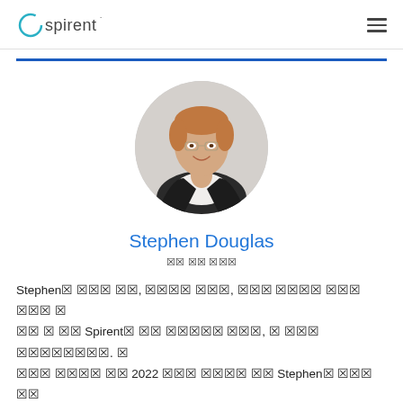Spirent [logo] [hamburger menu]
[Figure (photo): Circular headshot portrait of Stephen Douglas, a man with light brown hair wearing glasses and a dark suit jacket with white shirt, smiling.]
Stephen Douglas
[role/title text in unreadable characters]
Stephen [unreadable text] Spirent [unreadable text] 2022 [unreadable text] Stephen [unreadable]